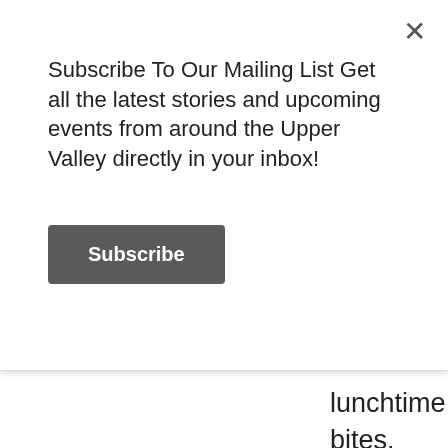Subscribe To Our Mailing List Get all the latest stories and upcoming events from around the Upper Valley directly in your inbox!
Subscribe
lunchtime bites. Here are a variety of Upper Valley restaurants serving up some satisfying lunches. Read More